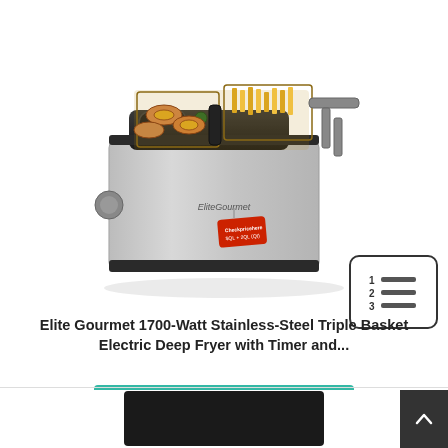[Figure (photo): Elite Gourmet 1700-Watt Stainless-Steel Triple Basket Electric Deep Fryer with two wire frying baskets filled with onion rings and french fries, plus a small numbered-list icon in the lower right corner]
Elite Gourmet 1700-Watt Stainless-Steel Triple Basket Electric Deep Fryer with Timer and...
CHECK DISCOUNTED PRICE
[Figure (photo): Partial view of another product (appears to be a Presto appliance) at the bottom of the page, with a dark scroll-to-top button on the right]